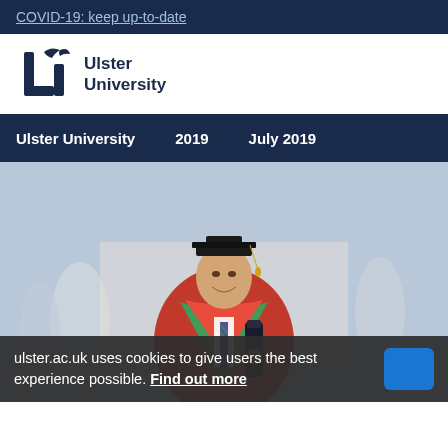COVID-19: keep up-to-date
[Figure (logo): Ulster University logo with stylized U lettermark and bird motif, text reads Ulster University]
Ulster University   2019   July 2019
[Figure (photo): Man wearing red academic graduation gown with green trim, black doctoral mortarboard hat with yellow tassel, holding a graduation scroll, smiling at the camera. Background shows an outdoor graduation event with other attendees.]
ulster.ac.uk uses cookies to give users the best experience possible. Find out more